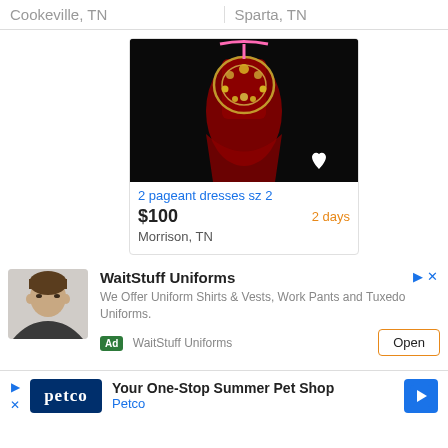Cookeville, TN	Sparta, TN
[Figure (photo): Photo of a red and gold pageant dress hanging on a pink hanger against a black background, with a white heart icon in the bottom right corner.]
2 pageant dresses sz 2
$100	2 days
Morrison, TN
[Figure (infographic): Advertisement for WaitStuff Uniforms showing a man's photo, text 'We Offer Uniform Shirts & Vests, Work Pants and Tuxedo Uniforms.', an Ad badge, WaitStuff Uniforms label, and an Open button.]
[Figure (infographic): Petco advertisement banner: 'Your One-Stop Summer Pet Shop' with Petco logo and a blue arrow icon.]